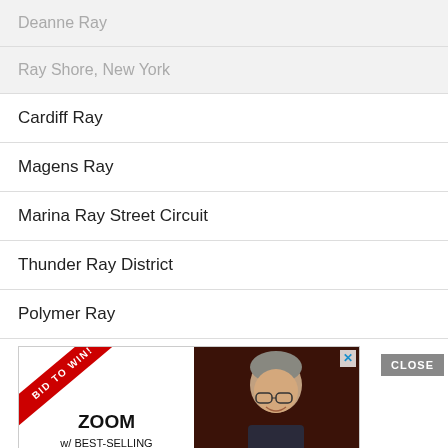Deanne Ray
Ray Shore, New York
Cardiff Ray
Magens Ray
Marina Ray Street Circuit
Thunder Ray District
Polymer Ray
[Figure (screenshot): Advertisement banner with 'BID TO WIN!' ribbon, ZOOM text, 'w/ BEST-SELLING' text, a person photo, and a CLOSE button]